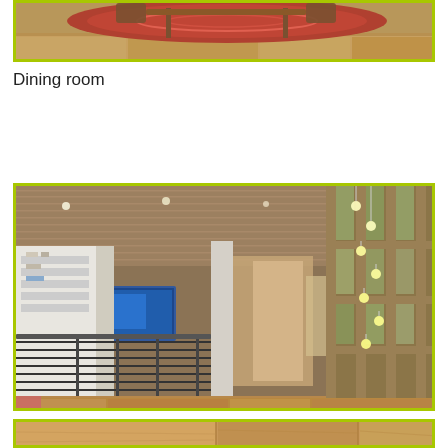[Figure (photo): Bottom portion of a dining room photo showing a table with chairs on a red patterned rug, with wood flooring, framed by a lime-green border]
Dining room
[Figure (photo): Interior hallway/common space of a modern home with wood plank ceiling, horizontal metal railing along a mezzanine walkway, pendant globe lights, large wooden window wall with outdoor greenery visible, built-in shelving, and hardwood floors. Framed by a lime-green border.]
Common Space
[Figure (photo): Partial view of a third interior photo showing hardwood flooring, framed by a lime-green border — image is cut off at bottom of page]